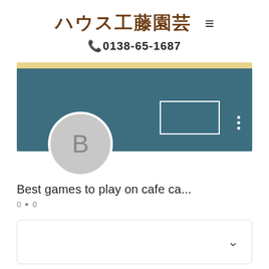ハウス工藤園芸 ≡
☎0138-65-1687
[Figure (screenshot): Social media profile banner with teal/blue background, yellow top strip, white rectangle outline, vertical three-dot menu icon, and a circular avatar placeholder with letter B]
Best games to play on cafe ca...
0 • 0
[Figure (other): Collapsed card/panel with chevron down arrow on right side]